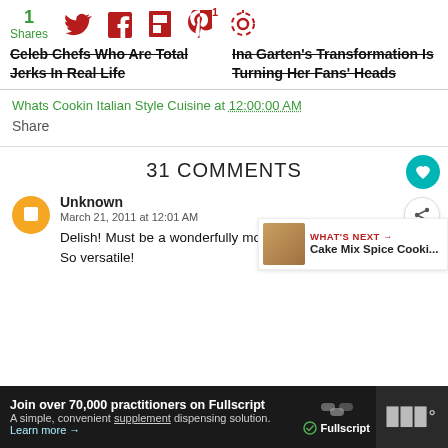1 Shares | Social icons (Twitter, Facebook, Flipboard, Pinterest, Share)
Celeb Chefs Who Are Total Jerks In Real Life
Ina Garten's Transformation Is Turning Her Fans' Heads
Whats Cookin Italian Style Cuisine at 12:00:00 AM
Share
31 COMMENTS
Unknown
March 21, 2011 at 12:01 AM
Delish! Must be a wonderfully moist cake! Yum! Love zucchini. So versatile!
WHAT'S NEXT → Cake Mix Spice Cooki...
Join over 70,000 practitioners on Fullscript
A simple, convenient supplement dispensing solution.
Learn more →